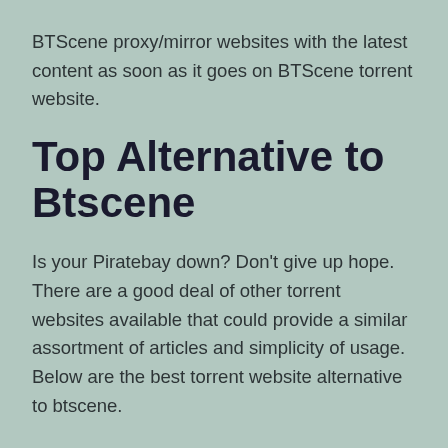BTScene proxy/mirror websites with the latest content as soon as it goes on BTScene torrent website.
Top Alternative to Btscene
Is your Piratebay down? Don't give up hope. There are a good deal of other torrent websites available that could provide a similar assortment of articles and simplicity of usage. Below are the best torrent website alternative to btscene.